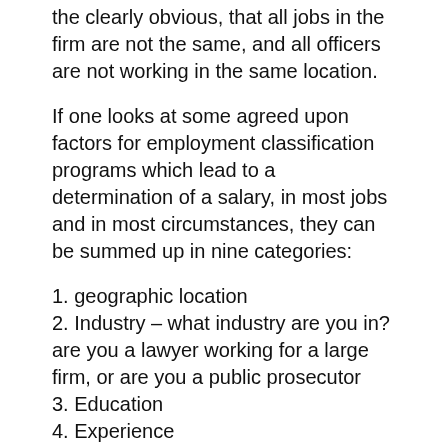the clearly obvious, that all jobs in the firm are not the same, and all officers are not working in the same location.
If one looks at some agreed upon factors for employment classification programs which lead to a determination of a salary, in most jobs and in most circumstances, they can be summed up in nine categories:
1. geographic location
2. Industry – what industry are you in? are you a lawyer working for a large firm, or are you a public prosecutor
3. Education
4. Experience
5. Performance Reports
6. Whether or not your'e a boss- Supervision
7. Associations and Certifications
8. Hazardous Working Conditions